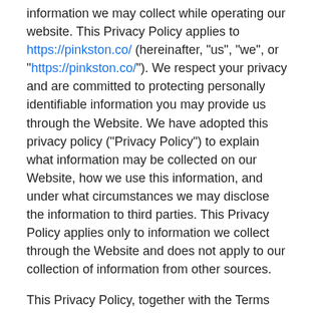information we may collect while operating our website. This Privacy Policy applies to https://pinkston.co/ (hereinafter, "us", "we", or "https://pinkston.co/"). We respect your privacy and are committed to protecting personally identifiable information you may provide us through the Website. We have adopted this privacy policy ("Privacy Policy") to explain what information may be collected on our Website, how we use this information, and under what circumstances we may disclose the information to third parties. This Privacy Policy applies only to information we collect through the Website and does not apply to our collection of information from other sources.
This Privacy Policy, together with the Terms and conditions posted on our Website, set forth the general rules and policies governing your use of our Website. Depending on your activities when visiting our Website, you may be required to agree to additional terms and conditions.
Website Visitor...